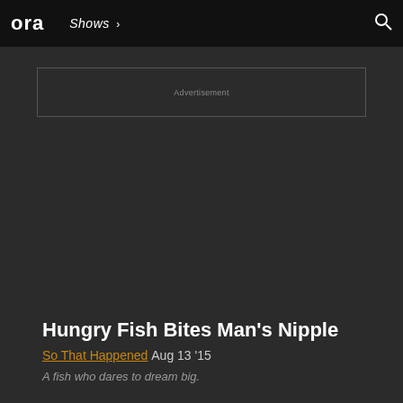ora  Shows >
[Figure (other): Advertisement placeholder box with text 'Advertisement' centered inside a bordered rectangle]
Hungry Fish Bites Man's Nipple
So That Happened  Aug 13 '15
A fish who dares to dream big.